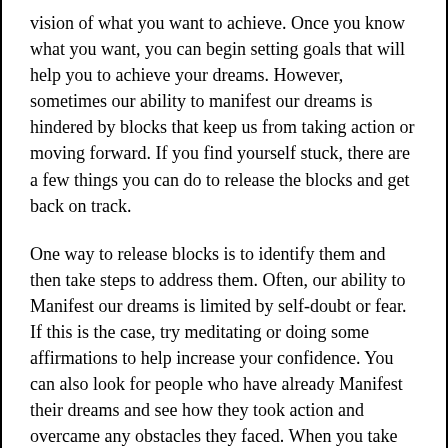vision of what you want to achieve. Once you know what you want, you can begin setting goals that will help you to achieve your dreams. However, sometimes our ability to manifest our dreams is hindered by blocks that keep us from taking action or moving forward. If you find yourself stuck, there are a few things you can do to release the blocks and get back on track.
One way to release blocks is to identify them and then take steps to address them. Often, our ability to Manifest our dreams is limited by self-doubt or fear. If this is the case, try meditating or doing some affirmations to help increase your confidence. You can also look for people who have already Manifest their dreams and see how they took action and overcame any obstacles they faced. When you take the time to understand what is holding you back, you can start to take steps to move past it.
Another way to Manifest your dreams is to get rid of anything that is no longer serving you. This includes old